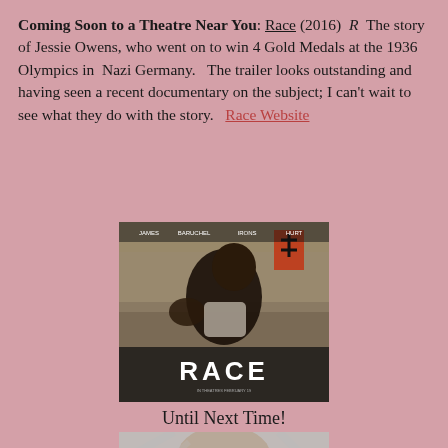Coming Soon to a Theatre Near You: Race (2016)  R  The story of Jessie Owens, who went on to win 4 Gold Medals at the 1936 Olympics in  Nazi Germany.   The trailer looks outstanding and having seen a recent documentary on the subject; I can't wait to see what they do with the story.    Race Website
[Figure (photo): Movie poster for Race (2016) showing a Black male athlete in a white tank top crouching in a starting position, with crowd and a Nazi flag visible in the background. The word RACE appears at the bottom of the poster.]
Until Next Time!
[Figure (photo): Black and white portrait photograph of a woman with medium-length blonde hair, looking directly at the camera.]